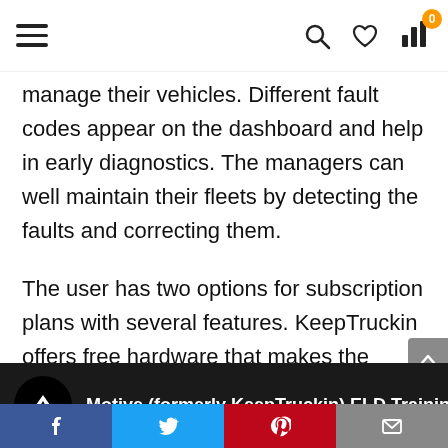Navigation bar with hamburger menu, search icon, heart icon, bar chart icon with badge 0
manage their vehicles. Different fault codes appear on the dashboard and help in early diagnostics. The managers can well maintain their fleets by detecting the faults and correcting them.
The user has two options for subscription plans with several features. KeepTruckin offers free hardware that makes the entire unit economical.
[Figure (screenshot): Video thumbnail showing Motive (formerly KeepTruckin) ELD Training with Motive logo on dark background]
Share bar with Facebook, Twitter, Pinterest, and Email buttons